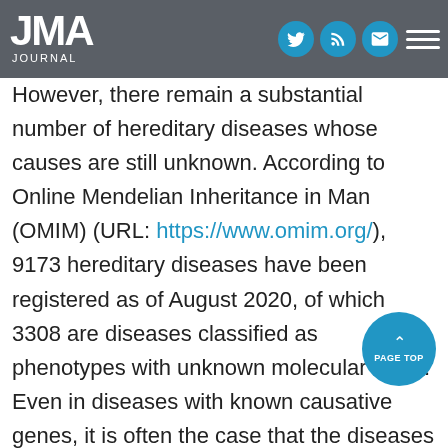JMA JOURNAL — header with logo and social icons
However, there remain a substantial number of hereditary diseases whose causes are still unknown. According to Online Mendelian Inheritance in Man (OMIM) (URL: https://www.omim.org/), 9173 hereditary diseases have been registered as of August 2020, of which 3308 are diseases classified as phenotypes with unknown molecular basis. Even in diseases with known causative genes, it is often the case that the diseases are so rare and the clinical manifestations are so complicated that even exhaustive sets of ordinary diagnostic tests have never reached accurate diagnosis. These patients inevitably wander from hospitals to hospitals seeking correct diagnosis but eventually remain undiagnosed and untreated, which is the so-